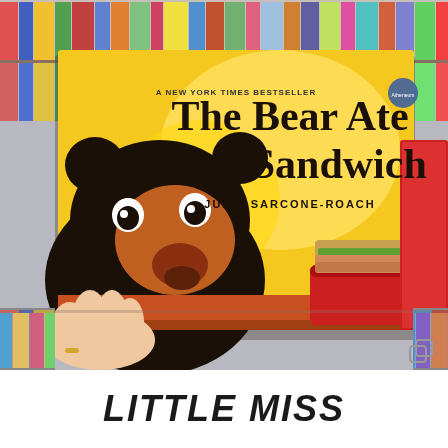[Figure (photo): A hand holding up the children's picture book 'The Bear Ate Your Sandwich' by Julia Sarcone-Roach in front of a colorful bookshelf. The book cover shows a large illustrated bear peeking over a surface with a sandwich in a red lunchbox nearby, on a yellow background. Text on the book reads 'A NEW YORK TIMES BESTSELLER' at the top.]
LITTLE MISS